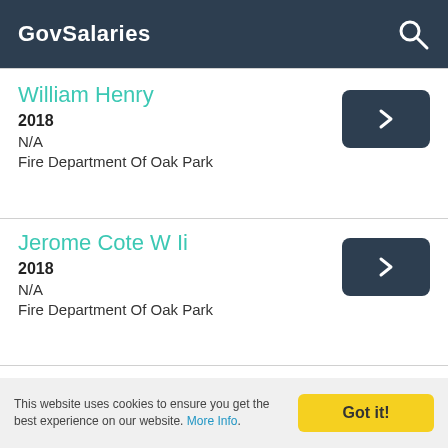GovSalaries
William Henry
2018
N/A
Fire Department Of Oak Park
Jerome Cote W Ii
2018
N/A
Fire Department Of Oak Park
Steve Ausmann
2018
N/A
This website uses cookies to ensure you get the best experience on our website. More Info.